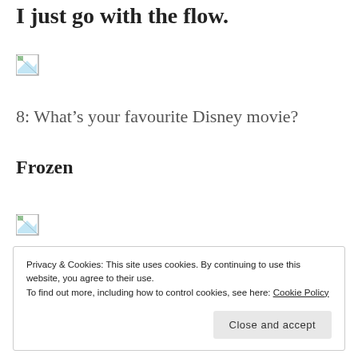I just go with the flow.
[Figure (photo): Broken/unloaded image placeholder (small icon, top)]
8: What’s your favourite Disney movie?
Frozen
[Figure (photo): Broken/unloaded image placeholder (small icon, bottom)]
Privacy & Cookies: This site uses cookies. By continuing to use this website, you agree to their use.
To find out more, including how to control cookies, see here: Cookie Policy
Close and accept